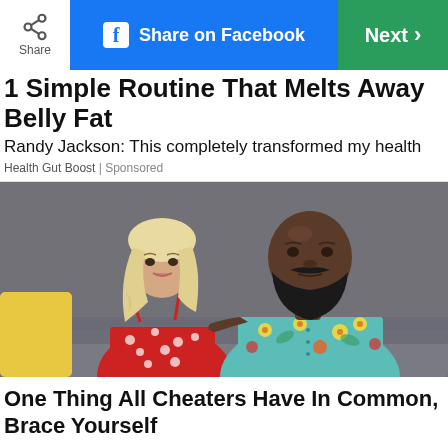[Figure (screenshot): Top navigation bar with Share button, Share on Facebook button (blue), and Next button (green)]
1 Simple Routine That Melts Away Belly Fat
Randy Jackson: This completely transformed my health
Health Gut Boost | Sponsored
[Figure (photo): A blonde woman in a red floral dress sitting next to a bald bearded man in a teal floral shirt on a grey couch with a yellow pillow]
One Thing All Cheaters Have In Common, Brace Yourself